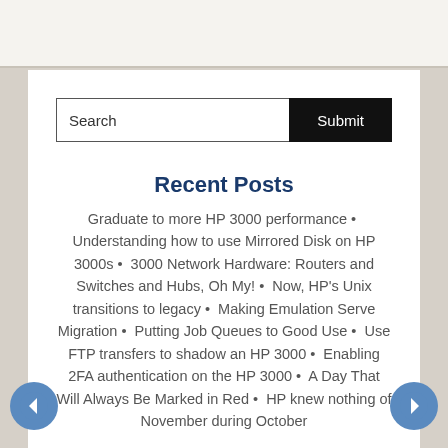[Figure (screenshot): Search bar with text input field labeled 'Search' and a black 'Submit' button]
Recent Posts
Graduate to more HP 3000 performance • Understanding how to use Mirrored Disk on HP 3000s • 3000 Network Hardware: Routers and Switches and Hubs, Oh My! • Now, HP's Unix transitions to legacy • Making Emulation Serve Migration • Putting Job Queues to Good Use • Use FTP transfers to shadow an HP 3000 • Enabling 2FA authentication on the HP 3000 • A Day That Will Always Be Marked in Red • HP knew nothing of November during October